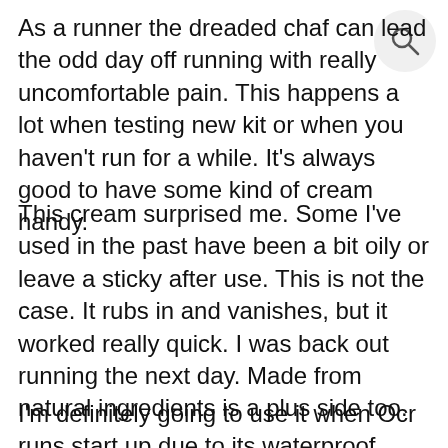As a runner the dreaded chaf can lead the odd day off running with really uncomfortable pain. This happens a lot when testing new kit or when you haven't run for a while. It's always good to have some kind of cream handy.
This cream surprised me. Some I've used in the past have been a bit oily or leave a sticky after use. This is not the case. It rubs in and vanishes, but it worked really quick. I was back out running the next day. Made from natural ingredients is a plus side too.
I'm definitely going to use it when Ocr runs start up due to its waterproof factor.